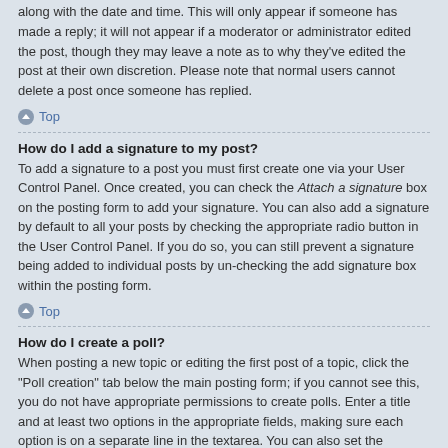along with the date and time. This will only appear if someone has made a reply; it will not appear if a moderator or administrator edited the post, though they may leave a note as to why they've edited the post at their own discretion. Please note that normal users cannot delete a post once someone has replied.
Top
How do I add a signature to my post?
To add a signature to a post you must first create one via your User Control Panel. Once created, you can check the Attach a signature box on the posting form to add your signature. You can also add a signature by default to all your posts by checking the appropriate radio button in the User Control Panel. If you do so, you can still prevent a signature being added to individual posts by un-checking the add signature box within the posting form.
Top
How do I create a poll?
When posting a new topic or editing the first post of a topic, click the "Poll creation" tab below the main posting form; if you cannot see this, you do not have appropriate permissions to create polls. Enter a title and at least two options in the appropriate fields, making sure each option is on a separate line in the textarea. You can also set the number of options users may select during voting under "Options per user", a time limit in days for the poll (0 for infinite duration) and lastly the option to allow users to amend their votes.
Top